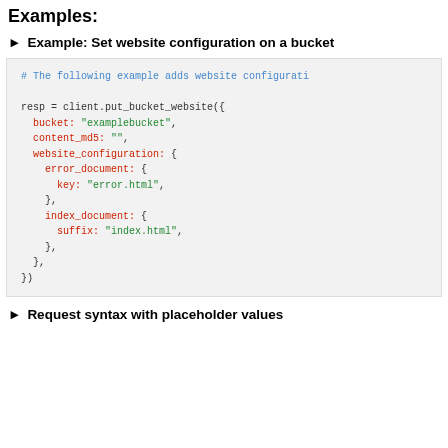Examples:
► Example: Set website configuration on a bucket
[Figure (screenshot): Code block showing Ruby/SDK example for put_bucket_website with website configuration including error_document and index_document]
► Request syntax with placeholder values